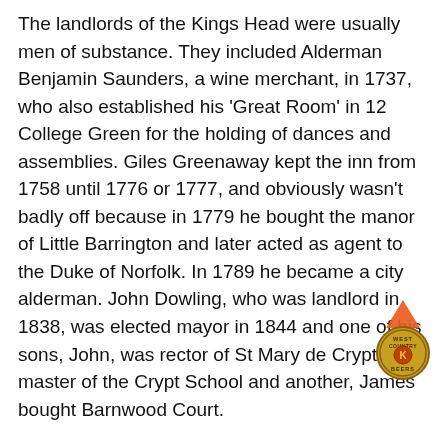The landlords of the Kings Head were usually men of substance. They included Alderman Benjamin Saunders, a wine merchant, in 1737, who also established his 'Great Room' in 12 College Green for the holding of dances and assemblies. Giles Greenaway kept the inn from 1758 until 1776 or 1777, and obviously wasn't badly off because in 1779 he bought the manor of Little Barrington and later acted as agent to the Duke of Norfolk. In 1789 he became a city alderman. John Dowling, who was landlord in 1838, was elected mayor in 1844 and one of his sons, John, was rector of St Mary de Crypt and master of the Crypt School and another, James bought Barnwood Court.
The Kings Head must have had a good reputation because Queen Victoria stayed there as a princess. By 1854 it was known as a hotel rather than an inn, but like other coaching inns the Kings Head lost much of its trade to the railway and by 1865 the hotel had closed. The building became Victoria Chambers, housing an auctioneer's, a solicitor's, county court...
[Figure (logo): West Country Beers circular logo with orange/red arrow pointing upward overlaid on top right area of second paragraph]